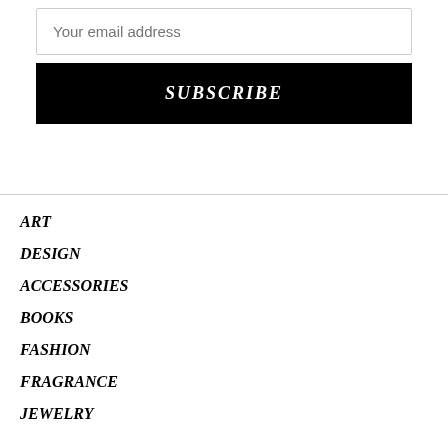Your email address
SUBSCRIBE
ART
DESIGN
ACCESSORIES
BOOKS
FASHION
FRAGRANCE
JEWELRY